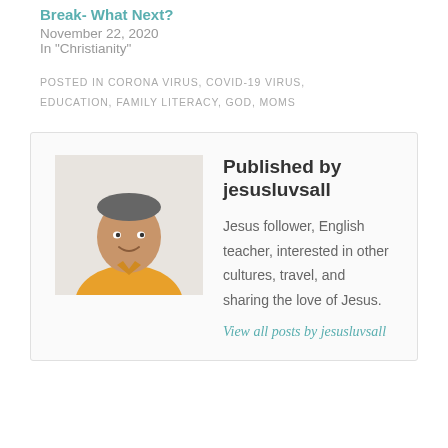Break- What Next?
November 22, 2020
In "Christianity"
POSTED IN CORONA VIRUS, COVID-19 VIRUS, EDUCATION, FAMILY LITERACY, GOD, MOMS
Published by jesusluvsall
[Figure (photo): Portrait photo of a man in a yellow shirt, smiling, against a light background.]
Jesus follower, English teacher, interested in other cultures, travel, and sharing the love of Jesus.
View all posts by jesusluvsall